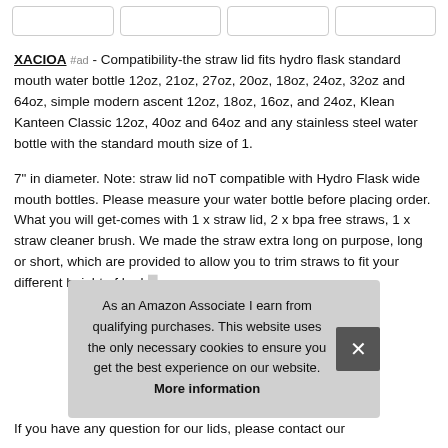XACIOA #ad - Compatibility-the straw lid fits hydro flask standard mouth water bottle 12oz, 21oz, 27oz, 20oz, 18oz, 24oz, 32oz and 64oz, simple modern ascent 12oz, 18oz, 16oz, and 24oz, Klean Kanteen Classic 12oz, 40oz and 64oz and any stainless steel water bottle with the standard mouth size of 1.
7" in diameter. Note: straw lid noT compatible with Hydro Flask wide mouth bottles. Please measure your water bottle before placing order. What you will get-comes with 1 x straw lid, 2 x bpa free straws, 1 x straw cleaner brush. We made the straw extra long on purpose, long or short, which are provided to allow you to trim straws to fit your different height of hydr
As an Amazon Associate I earn from qualifying purchases. This website uses the only necessary cookies to ensure you get the best experience on our website. More information
If you have any question for our lids, please contact our